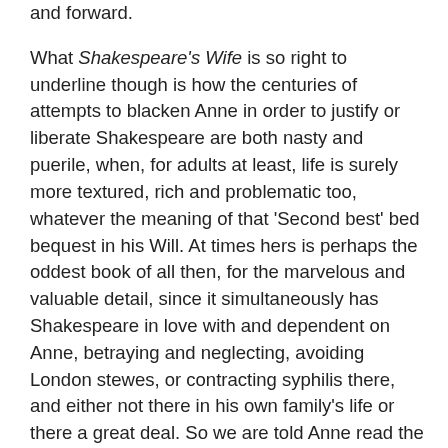and forward. What Shakespeare's Wife is so right to underline though is how the centuries of attempts to blacken Anne in order to justify or liberate Shakespeare are both nasty and puerile, when, for adults at least, life is surely more textured, rich and problematic too, whatever the meaning of that 'Second best' bed bequest in his Will. At times hers is perhaps the oddest book of all then, for the marvelous and valuable detail, since it simultaneously has Shakespeare in love with and dependent on Anne, betraying and neglecting, avoiding London stewes, or contracting syphilis there, and either not there in his own family's life or there a great deal. So we are told Anne read the sonnets in 1609 to discover Will was homosexual, though also told the label did not exist and it is not possible to pin the sonnets to the cliché of a starting obsession with a